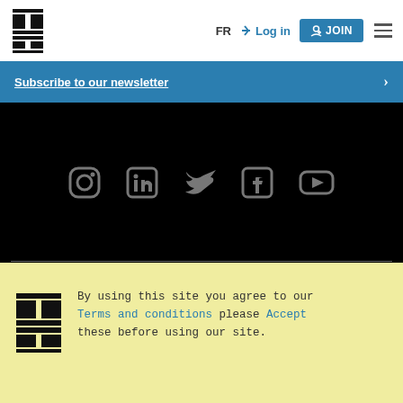CIM ICM logo | FR | Log in | JOIN | menu
Subscribe to our newsletter
[Figure (other): Social media icons: Instagram, LinkedIn, Twitter, Facebook, YouTube on black background]
By using this site you agree to our Terms and conditions please Accept these before using our site.